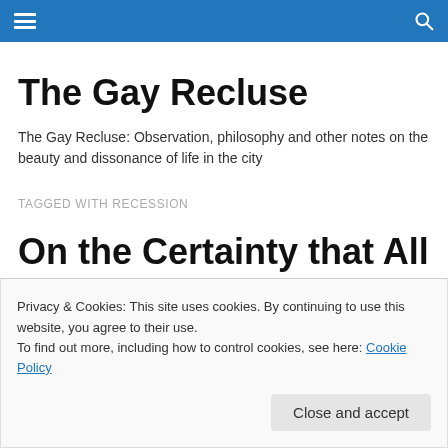The Gay Recluse [navigation bar]
The Gay Recluse
The Gay Recluse: Observation, philosophy and other notes on the beauty and dissonance of life in the city
TAGGED WITH RECESSION
On the Certainty that All Paths Lead To Oblivion
Privacy & Cookies: This site uses cookies. By continuing to use this website, you agree to their use.
To find out more, including how to control cookies, see here: Cookie Policy